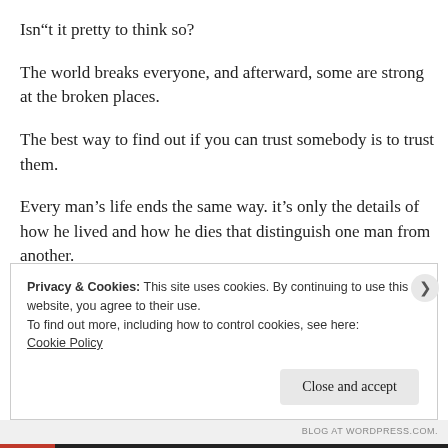Isn“t it pretty to think so?
The world breaks everyone, and afterward, some are strong at the broken places.
The best way to find out if you can trust somebody is to trust them.
Every man’s life ends the same way. it’s only the details of how he lived and how he dies that distinguish one man from another.
Privacy & Cookies: This site uses cookies. By continuing to use this website, you agree to their use.
To find out more, including how to control cookies, see here:
Cookie Policy
[Close and accept]